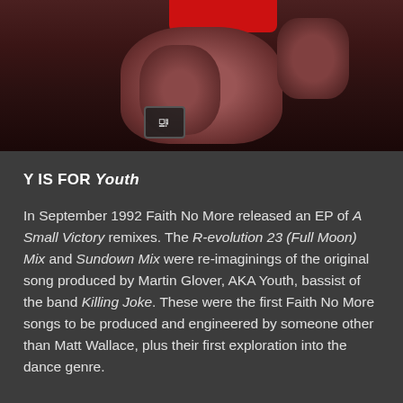[Figure (photo): A dark, close-up photo of people's faces, with a red element at the top center and a small video player error icon in the lower portion. White margins on left and right sides.]
Y IS FOR Youth
In September 1992 Faith No More released an EP of A Small Victory remixes. The R-evolution 23 (Full Moon) Mix and Sundown Mix were re-imaginings of the original song produced by Martin Glover, AKA Youth, bassist of the band Killing Joke. These were the first Faith No More songs to be produced and engineered by someone other than Matt Wallace, plus their first exploration into the dance genre.